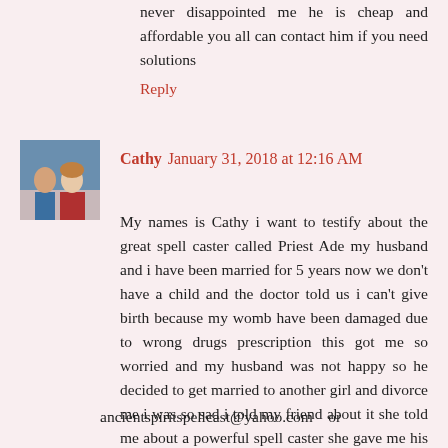never disappointed me he is cheap and affordable you all can contact him if you need solutions
Reply
Cathy  January 31, 2018 at 12:16 AM
My names is Cathy i want to testify about the great spell caster called Priest Ade my husband and i have been married for 5 years now we don't have a child and the doctor told us i can't give birth because my womb have been damaged due to wrong drugs prescription this got me so worried and my husband was not happy so he decided to get married to another girl and divorce me i was so sad i told my friend about it she told me about a powerful spell caster she gave me his email address well i never believe in it that much though i just decided to give him a try and he told me it will take 24hrs to get my husband back to me and i will get pregnant i doubted him the 3rd day my husband came back to me and was crying he said he didn't want the divorce anymore 3 weeks after the doctor confirmed that i was pregnant he can also help you contact him at
ancientspiritspellcast@yahoo.com  or